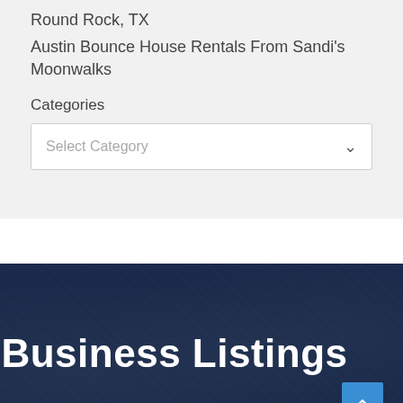Round Rock, TX
Austin Bounce House Rentals From Sandi's Moonwalks
Categories
Select Category
Business Listings